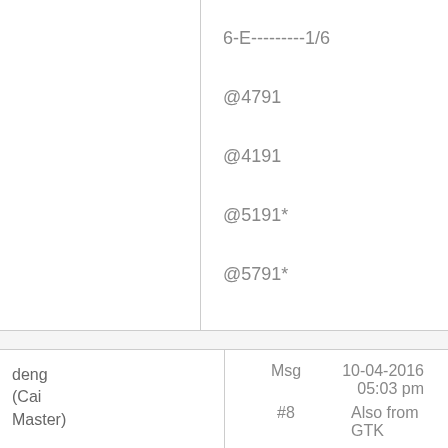6-E---------1/6
@4791
@4191
@5191*
@5791*
deng (Cai Master)
Msg #8
10-04-2016 05:03 pm
Also from GTK